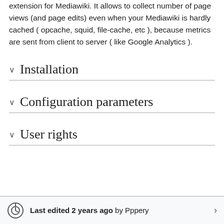extension for Mediawiki. It allows to collect number of page views (and page edits) even when your Mediawiki is hardly cached ( opcache, squid, file-cache, etc ), because metrics are sent from client to server ( like Google Analytics ).
Installation
Configuration parameters
User rights
Last edited 2 years ago by Pppery